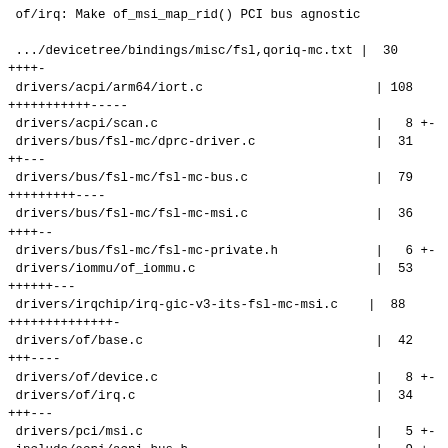of/irq: Make of_msi_map_rid() PCI bus agnostic

 .../devicetree/bindings/misc/fsl,qoriq-mc.txt |  30
++++-
 drivers/acpi/arm64/iort.c                       | 108
+++++++++++-----
 drivers/acpi/scan.c                             |   8 +-
 drivers/bus/fsl-mc/dprc-driver.c                |  31
++---
 drivers/bus/fsl-mc/fsl-mc-bus.c                 |  79
+++++++++----
 drivers/bus/fsl-mc/fsl-mc-msi.c                 |  36
++++--
 drivers/bus/fsl-mc/fsl-mc-private.h             |   6 +-
 drivers/iommu/of_iommu.c                        |  53
++++++---
 drivers/irqchip/irq-gic-v3-its-fsl-mc-msi.c    |  88
++++++++++++++-
 drivers/of/base.c                               |  42
+++----
 drivers/of/device.c                             |   8 +-
 drivers/of/irq.c                                |  34
+++---
 drivers/pci/msi.c                               |   5 +-
 include/acpi/acpi_bus.h                         |   9 +-
 include/linux/acpi.h                            |   7 ++
 include/linux/acpi_iort.h                       |  26
+++--
 include/linux/of.h                              |  17
++-